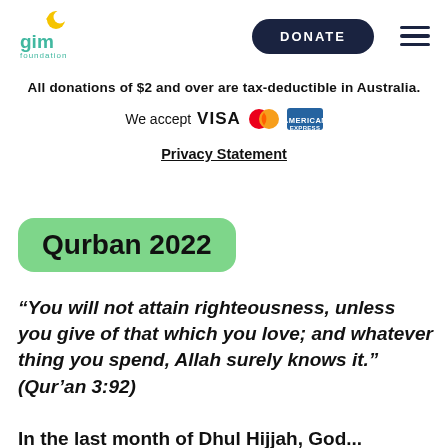GIM Foundation — DONATE
All donations of $2 and over are tax-deductible in Australia.
We accept VISA MasterCard AmericanExpress
Privacy Statement
Qurban 2022
“You will not attain righteousness, unless you give of that which you love; and whatever thing you spend, Allah surely knows it.” (Qur’an 3:92)
In the last month of Dhul Hijjah...